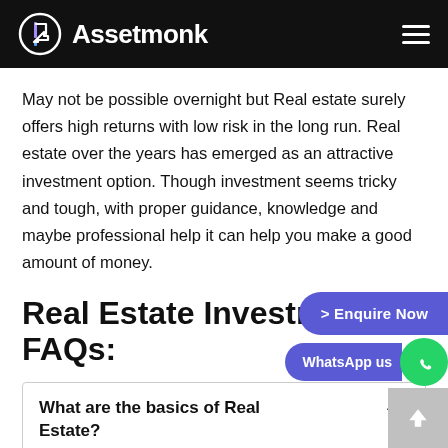Assetmonk
May not be possible overnight but Real estate surely offers high returns with low risk in the long run. Real estate over the years has emerged as an attractive investment option. Though investment seems tricky and tough, with proper guidance, knowledge and maybe professional help it can help you make a good amount of money.
Real Estate Investment FAQs:
What are the basics of Real Estate?